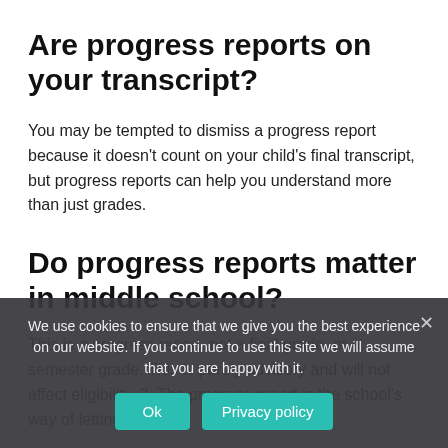Are progress reports on your transcript?
You may be tempted to dismiss a progress report because it doesn't count on your child's final transcript, but progress reports can help you understand more than just grades.
Do progress reports matter in middle school?
This is a progress report, not a final grade, or a semester grade. This is purely advisory and will not affect eligibility. 2. The progress report is the school's way of letting you...
We use cookies to ensure that we give you the best experience on our website. If you continue to use this site we will assume that you are happy with it.